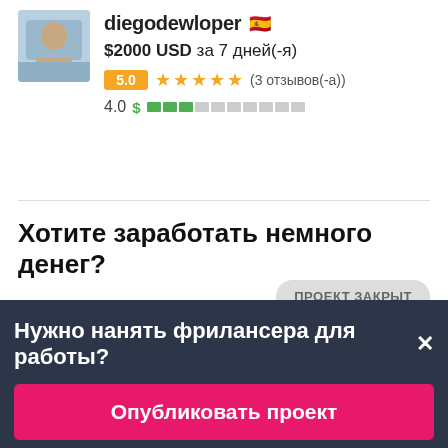[Figure (photo): Profile photo of diegodewloper, a person with short hair]
diegodewloper 🇪🇸
$2000 USD за 7 дней(-я)
5.0 ★★★★★ (3 отзывов(-а))
4.0 $ ████░░░░░░
Хотите заработать немного денег?
ПРОЕКТ ЗАКРЫТ
Ваш электронный адрес
Нужно нанять фрилансера для работы?×
Опубликовать проект